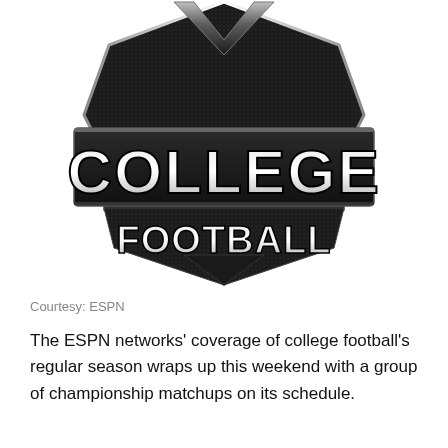[Figure (logo): ESPN College Football shield logo in black and silver with 'COLLEGE' in large bold letters and 'FOOTBALL' below it on a dark textured shield background]
Courtesy: ESPN
The ESPN networks’ coverage of college football’s regular season wraps up this weekend with a group of championship matchups on its schedule.